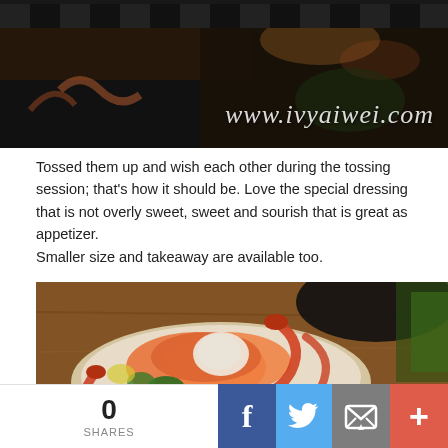[Figure (photo): Food photo (top) showing seafood dishes on dark background with watermark text www.ivyaiwei.com in cursive white italic]
Tossed them up and wish each other during the tossing session; that's how it should be. Love the special dressing that is not overly sweet, sweet and sourish that is great as appetizer.
Smaller size and takeaway are available too.
[Figure (photo): Close-up food photo of a Japanese seafood bowl with salmon sashimi, prawns, and scallops arranged beautifully in a wooden bowl, with other dishes visible in background]
0
SHARES